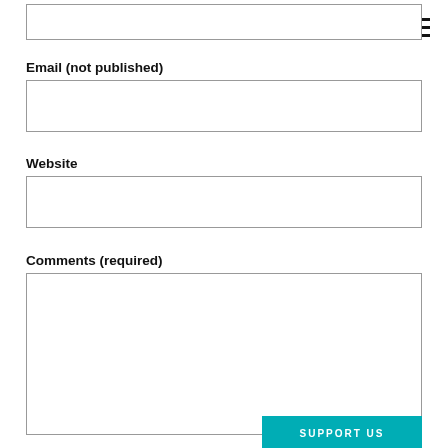[partial input field at top]
Email (not published)
[email input field]
Website
[website input field]
Comments (required)
[comments textarea]
SUPPORT US